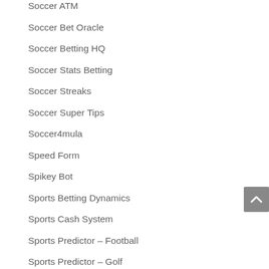Soccer ATM
Soccer Bet Oracle
Soccer Betting HQ
Soccer Stats Betting
Soccer Streaks
Soccer Super Tips
Soccer4mula
Speed Form
Spikey Bot
Sports Betting Dynamics
Sports Cash System
Sports Predictor – Football
Sports Predictor – Golf
Sports Predictor – NFL